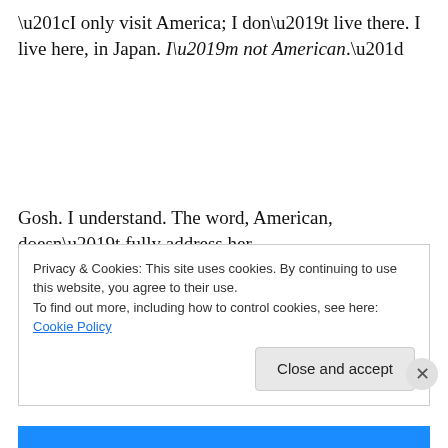“I only visit America; I don’t live there. I live here, in Japan. I’m not American.”
Gosh. I understand. The word, American, doesn’t fully address her. “Japanese” certainly isn’t all, either. We are complex beings. Maybe Asala is, too. But maybe not really. Not yet. Not sophisticated in English, anyway, or the feelings that word can carry.
Privacy & Cookies: This site uses cookies. By continuing to use this website, you agree to their use.
To find out more, including how to control cookies, see here: Cookie Policy
Close and accept